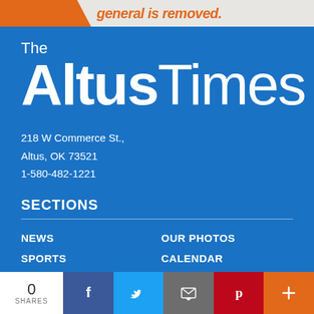[Figure (logo): Orange banner shape at top with partial text 'general is removed.']
The Altus Times
218 W Commerce St., Altus, OK 73521 1-580-482-1221
SECTIONS
NEWS
SPORTS
COMMUNITY
OBITUARIES
OPINION
OUR PHOTOS
CALENDAR
BUSINESSES
WEB EXTRAS
E-EDITION
0 SHARES  [Facebook] [Twitter] [Email] [Pinterest] [Plus]